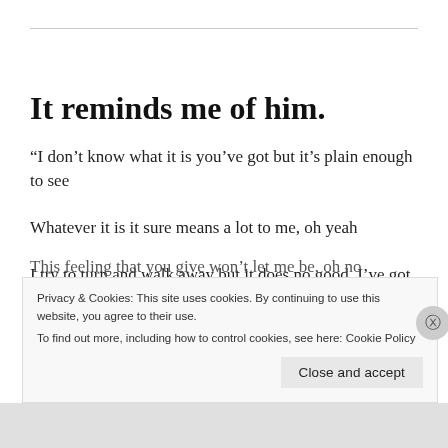It reminds me of him.
“I don’t know what it is you’ve got but it’s plain enough to see
Whatever it is it sure means a lot to me, oh yeah
I try to turn and walk away but it does no good, I’ve got to stay
This feeling that you give won’t let me be, oh no
Privacy & Cookies: This site uses cookies. By continuing to use this website, you agree to their use.
To find out more, including how to control cookies, see here: Cookie Policy
Close and accept